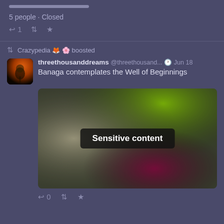5 people · Closed
↩ 1  🔁  ★
🔁 Crazypedia 🦊 🌸 boosted
threethousanddreams @threethousand... Jun 18
Banaga contemplates the Well of Beginnings
[Figure (photo): Blurred/sensitive image with green and dark tones, overlaid with a 'Sensitive content' label badge]
↩ 0  🔁  ★